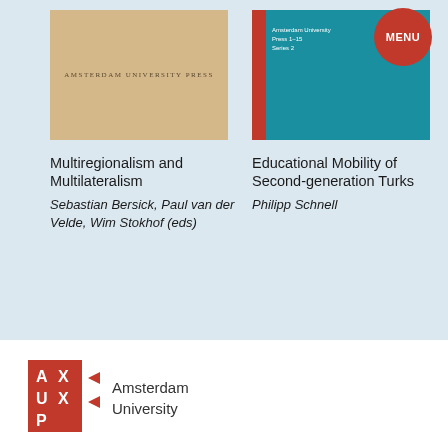[Figure (illustration): Book cover of 'Multiregionalism and Multilateralism' with a beige/tan background and decorative pattern, published by Amsterdam University Press]
[Figure (illustration): Book cover of 'Educational Mobility of Second-generation Turks' with a teal/blue background and red spine bar, with a red circle MENU button overlay]
Multiregionalism and Multilateralism
Sebastian Bersick, Paul van der Velde, Wim Stokhof (eds)
Educational Mobility of Second-generation Turks
Philipp Schnell
[Figure (logo): Amsterdam University Press logo - red AUP letters with zigzag pattern]
Amsterdam University